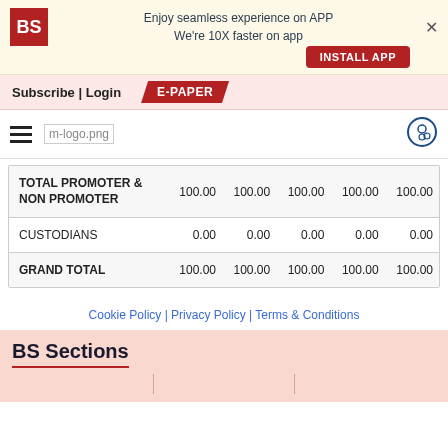Enjoy seamless experience on APP
We're 10X faster on app
INSTALL APP
Subscribe | Login  E-PAPER
|  |  |  |  |  |  |
| --- | --- | --- | --- | --- | --- |
| TOTAL PROMOTER & NON PROMOTER | 100.00 | 100.00 | 100.00 | 100.00 | 100.00 |
| CUSTODIANS | 0.00 | 0.00 | 0.00 | 0.00 | 0.00 |
| GRAND TOTAL | 100.00 | 100.00 | 100.00 | 100.00 | 100.00 |
Cookie Policy | Privacy Policy | Terms & Conditions
BS Sections